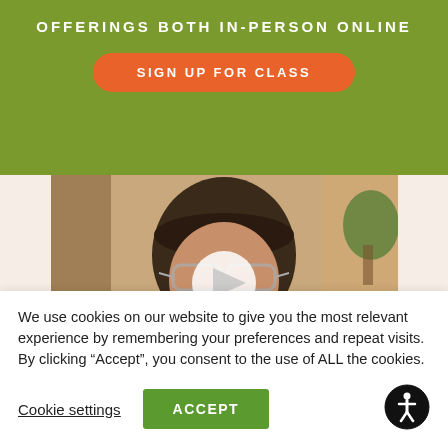OFFERINGS BOTH IN-PERSON ONLINE
SIGN UP FOR CLASS
[Figure (photo): Video thumbnail showing a woman with glasses and long dark hair in a room with a play button overlay]
We use cookies on our website to give you the most relevant experience by remembering your preferences and repeat visits. By clicking “Accept”, you consent to the use of ALL the cookies.
Cookie settings
ACCEPT